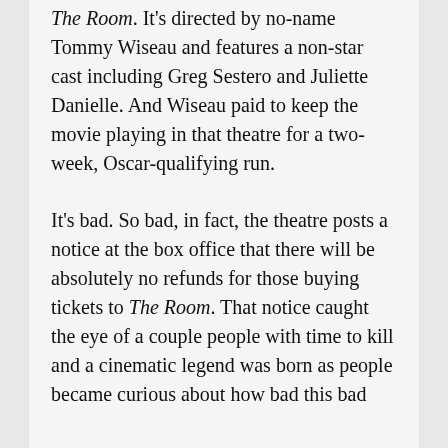The Room. It's directed by no-name Tommy Wiseau and features a non-star cast including Greg Sestero and Juliette Danielle. And Wiseau paid to keep the movie playing in that theatre for a two-week, Oscar-qualifying run.
It's bad. So bad, in fact, the theatre posts a notice at the box office that there will be absolutely no refunds for those buying tickets to The Room. That notice caught the eye of a couple people with time to kill and a cinematic legend was born as people became curious about how bad this bad